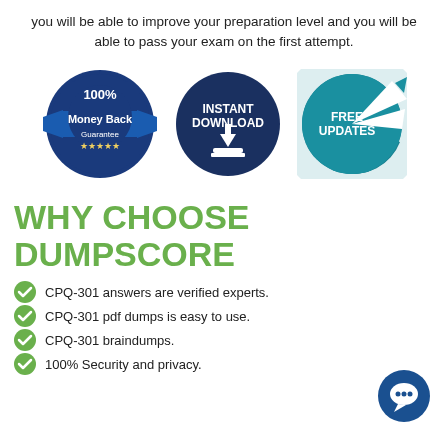you will be able to improve your preparation level and you will be able to pass your exam on the first attempt.
[Figure (infographic): Three circular badge icons: 100% Money Back Guarantee (blue seal with stars), Instant Download (dark blue circle with download arrow icon), Free Updates (teal circle with arrow)]
WHY CHOOSE DUMPSCORE
CPQ-301 answers are verified experts.
CPQ-301 pdf dumps is easy to use.
CPQ-301 braindumps.
100% Security and privacy.
[Figure (illustration): Blue circular chat bubble icon in bottom right corner]